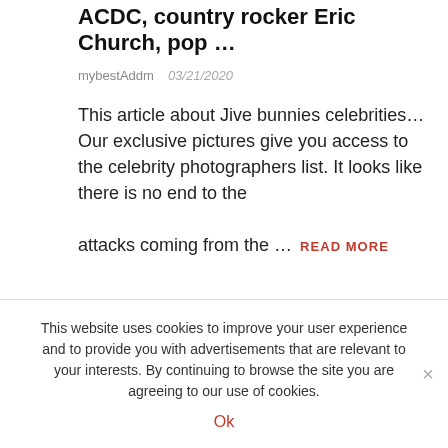ACDC, country rocker Eric Church, pop …
mybestAddm   03/21/2020
This article about Jive bunnies celebrities… Our exclusive pictures give you access to the celebrity photographers list. It looks like there is no end to the attacks coming from the …  READ MORE
access _ acdc, _ agent _ announced _ ariana _ awards _ bunnies _ bunnys _ celebrities _ celebrity _ church _ contact _ country _ database _ details _ eric _ exclusive _ female _ full _ gallery _ grammy _ grammy-winning _ grande _ hard _ icon _ jive _ jive bunnies
This website uses cookies to improve your user experience and to provide you with advertisements that are relevant to your interests. By continuing to browse the site you are agreeing to our use of cookies.
Ok